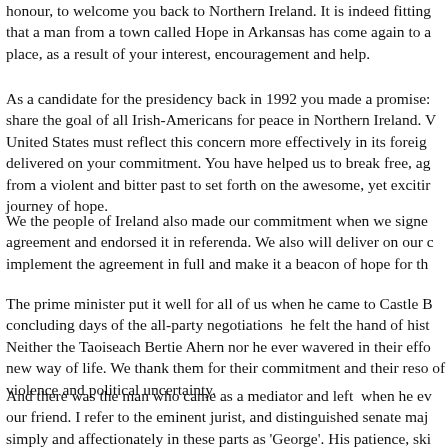honour, to welcome you back to Northern Ireland. It is indeed fitting that a man from a town called Hope in Arkansas has come again to a place that, as a result of your interest, encouragement and help.
As a candidate for the presidency back in 1992 you made a promise: to share the goal of all Irish-Americans for peace in Northern Ireland. You said the United States must reflect this concern more effectively in its foreign policy. You delivered on your commitment. You have helped us to break free, agonisingly, from a violent and bitter past to set forth on the awesome, yet exciting, journey of hope.
We the people of Ireland also made our commitment when we signed the agreement and endorsed it in referenda. We also will deliver on our commitment to implement the agreement in full and make it a beacon of hope for th...
The prime minister put it well for all of us when he came to Castle B... concluding days of the all-party negotiations he felt the hand of hist... Neither the Taoiseach Bertie Ahern nor he ever wavered in their effo... new way of life. We thank them for their commitment and their reso... of violence and political uncertainty.
And there was the man who came as a mediator and left when he ev... our friend. I refer to the eminent jurist, and distinguished senate maj... simply and affectionately in these parts as 'George'. His patience, ski... eased us through the darkest days and nights and led us quite literal... light of Good Friday. Thank you, George; we are proud to have kno...